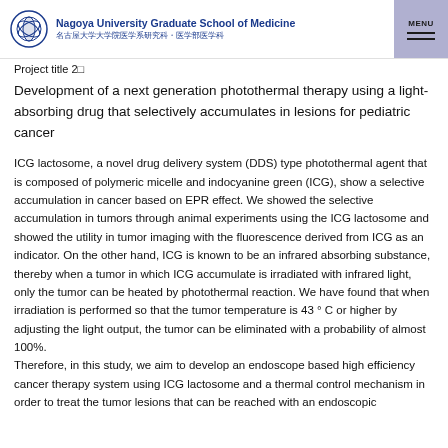Nagoya University Graduate School of Medicine 名古屋大学大学院医学系研究科・医学部医学科
Project title 2□
Development of a next generation photothermal therapy using a light-absorbing drug that selectively accumulates in lesions for pediatric cancer
ICG lactosome, a novel drug delivery system (DDS) type photothermal agent that is composed of polymeric micelle and indocyanine green (ICG), show a selective accumulation in cancer based on EPR effect. We showed the selective accumulation in tumors through animal experiments using the ICG lactosome and showed the utility in tumor imaging with the fluorescence derived from ICG as an indicator. On the other hand, ICG is known to be an infrared absorbing substance, thereby when a tumor in which ICG accumulate is irradiated with infrared light, only the tumor can be heated by photothermal reaction. We have found that when irradiation is performed so that the tumor temperature is 43 ° C or higher by adjusting the light output, the tumor can be eliminated with a probability of almost 100%.
Therefore, in this study, we aim to develop an endoscope based high efficiency cancer therapy system using ICG lactosome and a thermal control mechanism in order to treat the tumor lesions that can be reached with an endoscopic